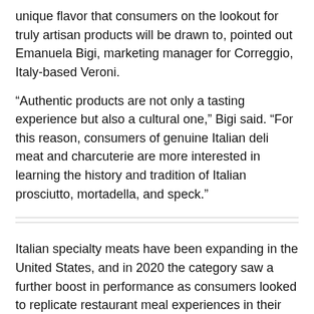unique flavor that consumers on the lookout for truly artisan products will be drawn to, pointed out Emanuela Bigi, marketing manager for Correggio, Italy-based Veroni.
“Authentic products are not only a tasting experience but also a cultural one,” Bigi said. “For this reason, consumers of genuine Italian deli meat and charcuterie are more interested in learning the history and tradition of Italian prosciutto, mortadella, and speck.”
Italian specialty meats have been expanding in the United States, and in 2020 the category saw a further boost in performance as consumers looked to replicate restaurant meal experiences in their homes with high-quality, flavorful products.